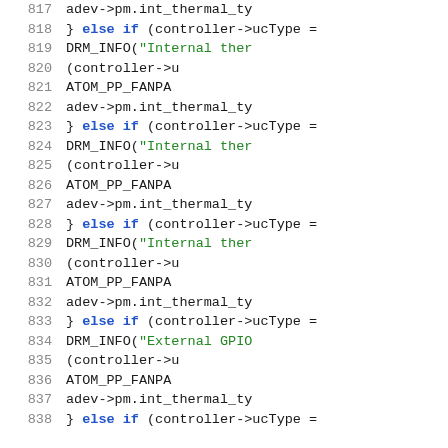Source code listing, lines 817-838, showing repeated else-if branches checking controller->ucType with DRM_INFO calls and adev->pm.int_thermal_ty assignments
[Figure (screenshot): C source code snippet with line numbers 817-838 showing conditional if-else branches. Line numbers in gray on left. Keywords 'else if' in blue/bold. String literals starting with 'Internal ther' and 'External GPIO' in green. Other code in dark/black monospace font.]